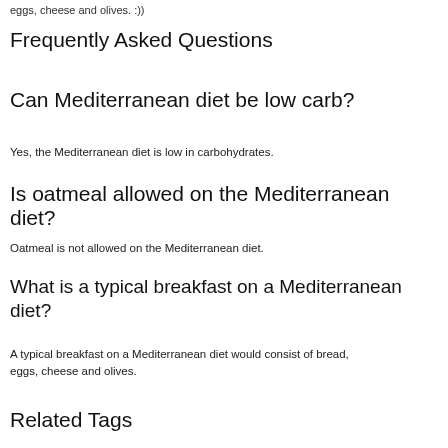eggs, cheese and olives. :))
Frequently Asked Questions
Can Mediterranean diet be low carb?
Yes, the Mediterranean diet is low in carbohydrates.
Is oatmeal allowed on the Mediterranean diet?
Oatmeal is not allowed on the Mediterranean diet.
What is a typical breakfast on a Mediterranean diet?
A typical breakfast on a Mediterranean diet would consist of bread, eggs, cheese and olives.
Related Tags